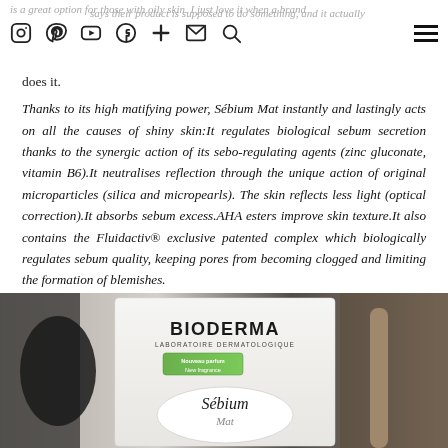is a great option for those with oily skin. I just love it when a brand says their product is supposed to do something, and it actually does it.
Thanks to its high matifying power, Sébium Mat instantly and lastingly acts on all the causes of shiny skin:It regulates biological sebum secretion thanks to the synergic action of its sebo-regulating agents (zinc gluconate, vitamin B6).It neutralises reflection through the unique action of original microparticles (silica and micropearls). The skin reflects less light (optical correction).It absorbs sebum excess.AHA esters improve skin texture.It also contains the Fluidactiv® exclusive patented complex which biologically regulates sebum quality, keeping pores from becoming clogged and limiting the formation of blemishes.
[Figure (photo): Photo of Bioderma Sébium Mat product packaging showing the BIODERMA LABORATOIRE DERMATOLOGIQUE label with 'Nouveau parfum New fragrance' tag and Sébium Mat branding on a white circular container, with dark background elements.]